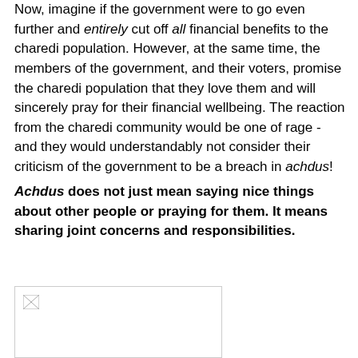Now, imagine if the government were to go even further and entirely cut off all financial benefits to the charedi population. However, at the same time, the members of the government, and their voters, promise the charedi population that they love them and will sincerely pray for their financial wellbeing. The reaction from the charedi community would be one of rage - and they would understandably not consider their criticism of the government to be a breach in achdus!
Achdus does not just mean saying nice things about other people or praying for them. It means sharing joint concerns and responsibilities.
[Figure (photo): A placeholder image with a broken image icon in the top-left corner, shown inside a bordered box.]